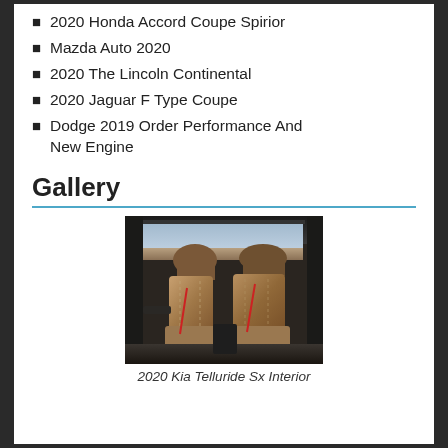2020 Honda Accord Coupe Spirior
Mazda Auto 2020
2020 The Lincoln Continental
2020 Jaguar F Type Coupe
Dodge 2019 Order Performance And New Engine
Gallery
[Figure (photo): Interior photo of a 2020 Kia Telluride Sx showing brown leather rear seats with desert landscape visible through the windows]
2020 Kia Telluride Sx Interior